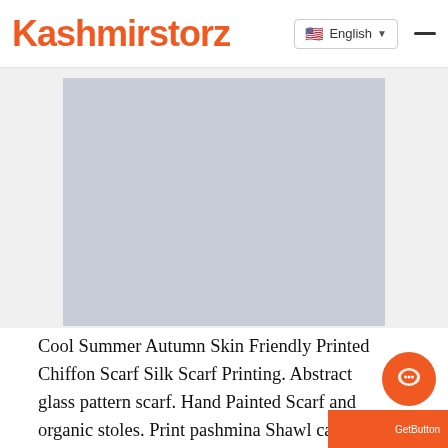Kashmirstorz
[Figure (photo): Light grey/blue placeholder product image box on a light grey background, representing a scarf product photo]
Cool Summer Autumn Skin Friendly Printed Chiffon Scarf Silk Scarf Printing. Abstract glass pattern scarf. Hand Painted Scarf and organic stoles. Print pashmina Shawl can also be offered in various designs. Personalised designs can also be offered. Standard size is 70 cm x 200 cm, 100